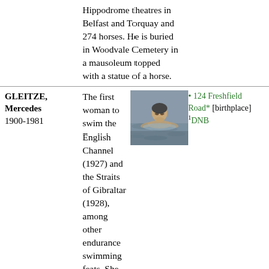| Name/Dates | Description | Links |
| --- | --- | --- |
|  | Hippodrome theatres in Belfast and Torquay and 274 horses. He is buried in Woodvale Cemetery in a mausoleum topped with a statue of a horse. |  |
| GLEITZE, Mercedes
1900-1981 | The first woman to swim the English Channel (1927) and the Straits of Gibraltar (1928), among other endurance swimming feats. She used sponsorship of her swims to raise substantial funds for her trust to house the | • 124 Freshfield Road* [birthplace]
¹DNB |
[Figure (photo): Black and white photo of Mercedes Gleitze swimming]